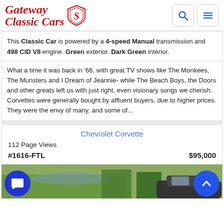Gateway Classic Cars
This Classic Car is powered by a 4-speed Manual transmission and 498 CID V8 engine. Green exterior. Dark Green interior.
What a time it was back in '66, with great TV shows like The Monkees, The Munsters and I Dream of Jeannie- while The Beach Boys, the Doors and other greats left us with just right, even visionary songs we cherish. Corvettes were generally bought by affluent buyers, due to higher prices. They were the envy of many, and some of...
Chevrolet Corvette
112 Page Views
#1616-FTL   $95,000
[Figure (photo): Bottom strip showing partial photo of a classic Corvette car outdoors with grass and water in background]